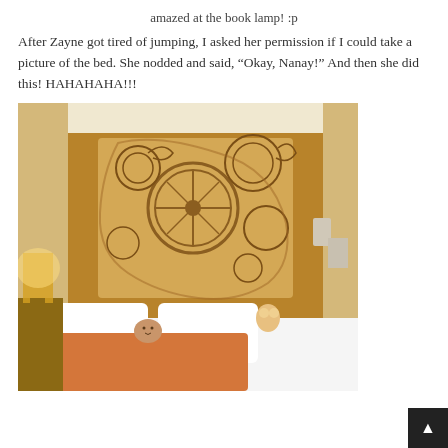amazed at the book lamp! :p
After Zayne got tired of jumping, I asked her permission if I could take a picture of the bed. She nodded and said, “Okay, Nanay!” And then she did this! HAHAHAHA!!!
[Figure (photo): Hotel room with a large ornate wooden headboard featuring circular decorative carvings. A child is lying in the white-sheeted bed with orange pillows, with a lamp on the nightstand to the left.]